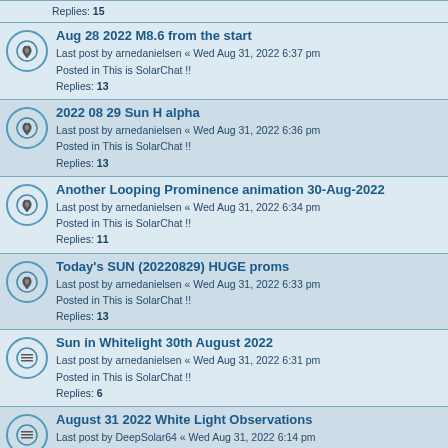Replies: 15
Aug 28 2022 M8.6 from the start
Last post by arnedanielsen « Wed Aug 31, 2022 6:37 pm
Posted in This is SolarChat !!
Replies: 13
2022 08 29 Sun H alpha
Last post by arnedanielsen « Wed Aug 31, 2022 6:36 pm
Posted in This is SolarChat !!
Replies: 13
Another Looping Prominence animation 30-Aug-2022
Last post by arnedanielsen « Wed Aug 31, 2022 6:34 pm
Posted in This is SolarChat !!
Replies: 11
Today's SUN (20220829) HUGE proms
Last post by arnedanielsen « Wed Aug 31, 2022 6:33 pm
Posted in This is SolarChat !!
Replies: 13
Sun in Whitelight 30th August 2022
Last post by arnedanielsen « Wed Aug 31, 2022 6:31 pm
Posted in This is SolarChat !!
Replies: 6
August 31 2022 White Light Observations
Last post by DeepSolar64 « Wed Aug 31, 2022 6:14 pm
Posted in This is SolarChat !!
AR 3089 August 31st
Last post by Montana « Wed Aug 31, 2022 5:39 pm
Posted in This is SolarChat !!
Replies: 1
Sunspots on 29/8/22 - 30/8/22 Sunspots group 13089